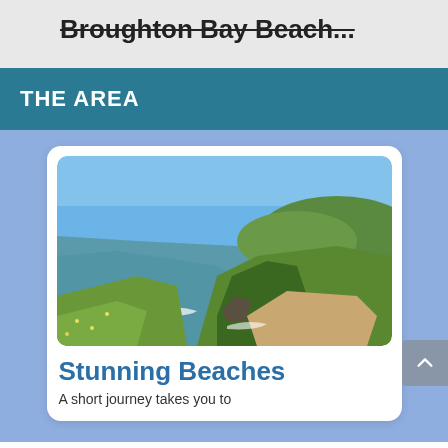Broughton Bay Beach...
THE AREA
[Figure (photo): Aerial/elevated view of a scenic coastal bay with green cliffs, sandy beach, calm blue-green water, and rolling green hills in the background under a clear blue sky.]
Stunning Beaches
A short journey takes you to